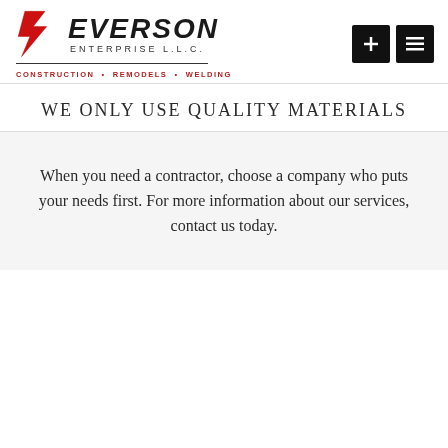[Figure (logo): Severson Enterprise L.L.C. logo with red stylized S and lightning bolt graphic, company name in bold italic, tagline: CONSTRUCTION • REMODELS • WELDING]
WE ONLY USE QUALITY MATERIALS
When you need a contractor, choose a company who puts your needs first. For more information about our services, contact us today.